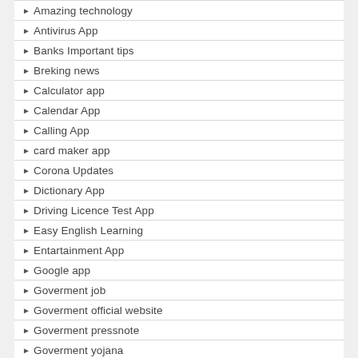Amazing technology
Antivirus App
Banks Important tips
Breking news
Calculator app
Calendar App
Calling App
card maker app
Corona Updates
Dictionary App
Driving Licence Test App
Easy English Learning
Entartainment App
Google app
Goverment job
Goverment official website
Goverment pressnote
Goverment yojana
Goverment App